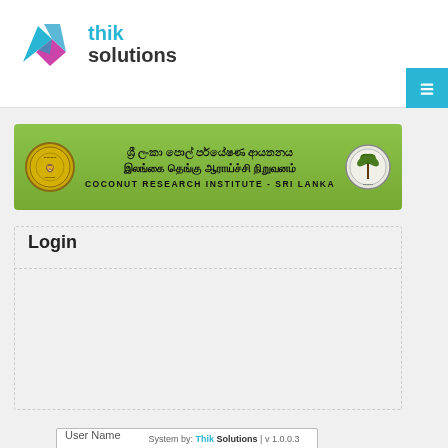[Figure (logo): Thik Solutions logo with blue/pink geometric icon and text 'thik solutions']
[Figure (logo): Coconut Research Institute Sri Lanka banner with Sinhala, Tamil and English text and two seals on a green background]
Login
User Name (input field)
•••••••••• (password field)
Login (button)
System by: Thik Solutions | v 1.0.0.3